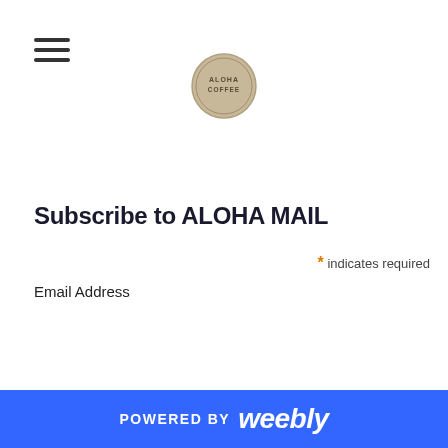ALOHA (logo with hamburger menu)
Subscribe to ALOHA MAIL
* indicates required
Email Address
POWERED BY weebly